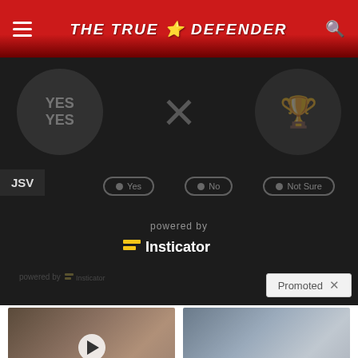THE TRUE DEFENDER
[Figure (screenshot): Dark poll widget with Yes/No/Not Sure options, powered by Insticator branding, with a Promoted label overlay]
[Figure (photo): Photo of a man and woman (Melania and Donald Trump) with a play button overlay]
Top Democrats Fear This Video Getting Out — Watch Now Before It's Banned
252,094
[Figure (photo): Photo of a person sitting on a bed, appearing elderly or ill]
4 Warning Signs Of Dementia (#2 Is Scary)
46,177